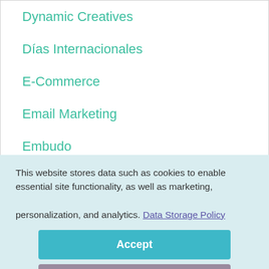Dynamic Creatives
Días Internacionales
E-Commerce
Email Marketing
Embudo
E...
This website stores data such as cookies to enable essential site functionality, as well as marketing, personalization, and analytics. Data Storage Policy
Accept
Deny